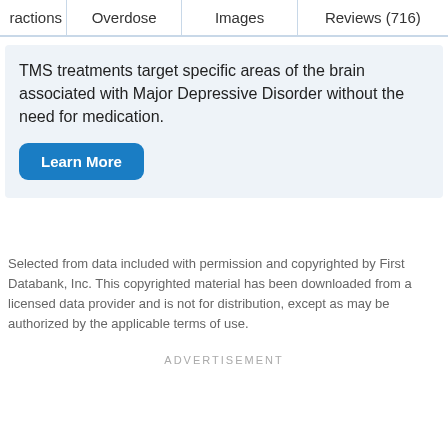ractions | Overdose | Images | Reviews (716)
TMS treatments target specific areas of the brain associated with Major Depressive Disorder without the need for medication.
Learn More
Selected from data included with permission and copyrighted by First Databank, Inc. This copyrighted material has been downloaded from a licensed data provider and is not for distribution, except as may be authorized by the applicable terms of use.
ADVERTISEMENT